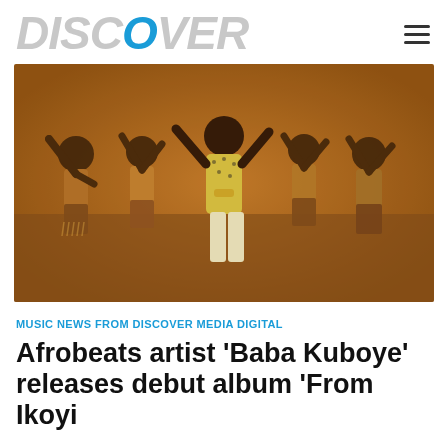DISCOVER
[Figure (photo): Performance photo of an Afrobeats artist in a yellow patterned shirt and white pants, arms raised, surrounded by four female dancers in colorful African print costumes with fringe skirts, all dancing on a stage with purple and blue stage lighting]
MUSIC NEWS FROM DISCOVER MEDIA DIGITAL
Afrobeats artist ‘Baba Kuboye’ releases debut album ‘From Ikoyi